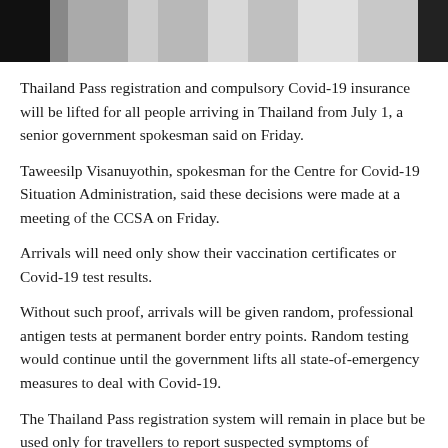[Figure (photo): Grayscale photo strip showing people at what appears to be an airport or border crossing, with dark figures in the foreground]
Thailand Pass registration and compulsory Covid-19 insurance will be lifted for all people arriving in Thailand from July 1, a senior government spokesman said on Friday.
Taweesilp Visanuyothin, spokesman for the Centre for Covid-19 Situation Administration, said these decisions were made at a meeting of the CCSA on Friday.
Arrivals will need only show their vaccination certificates or Covid-19 test results.
Without such proof, arrivals will be given random, professional antigen tests at permanent border entry points. Random testing would continue until the government lifts all state-of-emergency measures to deal with Covid-19.
The Thailand Pass registration system will remain in place but be used only for travellers to report suspected symptoms of dangerous and other communicable diseases, as determined by the Public Health Ministry, Dr Taweesilp said.